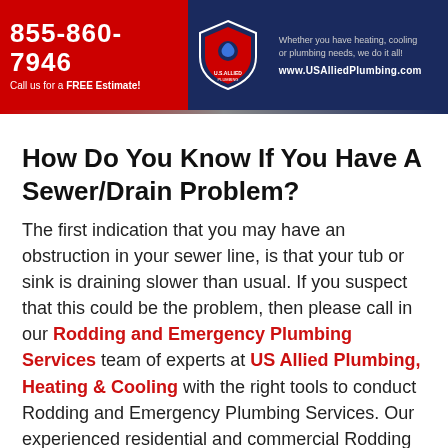[Figure (other): US Allied Plumbing banner ad with phone number 855-860-7946, shield logo, tagline 'Whether you have heating, cooling or plumbing needs, we do it all!', and website www.USAlliedPlumbing.com]
How Do You Know If You Have A Sewer/Drain Problem?
The first indication that you may have an obstruction in your sewer line, is that your tub or sink is draining slower than usual. If you suspect that this could be the problem, then please call in our Rodding and Emergency Plumbing Services team of experts at US Allied Plumbing, Heating & Cooling with the right tools to conduct Rodding and Emergency Plumbing Services. Our experienced residential and commercial Rodding and Emergency Plumbing Services plumbers have been helping North Aurora, Illinois and surrounding Woodridge IL area for